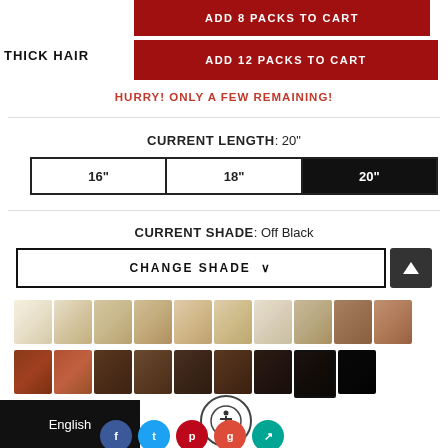ADD 8 PACKS TO CART
THICK HAIR
ADD 12 PACKS TO CART
HURRY! ONLY A FEW REMAINING!
CURRENT LENGTH: 20"
16"
18"
20"
CURRENT SHADE: Off Black
CHANGE SHADE
[Figure (other): Grid of hair color swatches — row 1: very light blonde to light brown shades (10 swatches)]
[Figure (other): Grid of hair color swatches — row 2: auburn, copper, dark brown, off-black, black shades (9 swatches), with off-black having a selected border]
English
[Figure (other): Accessibility icon button (person in circle)]
[Figure (other): Social media icons: Facebook, Twitter, Pinterest, Google+, Share]